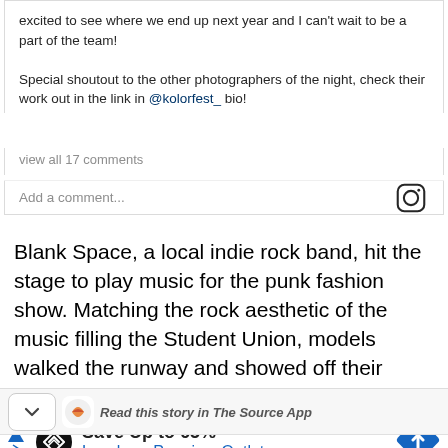excited to see where we end up next year and I can't wait to be a part of the team!
Special shoutout to the other photographers of the night, check their work out in the link in @kolorfest_ bio!
view all 17 comments
Add a comment...
Blank Space, a local indie rock band, hit the stage to play music for the punk fashion show. Matching the rock aesthetic of the music filling the Student Union, models walked the runway and showed off their alternative punk apparel.
Read this story in The Source App
Save Up to 65%
Leesburg Premium Outlets